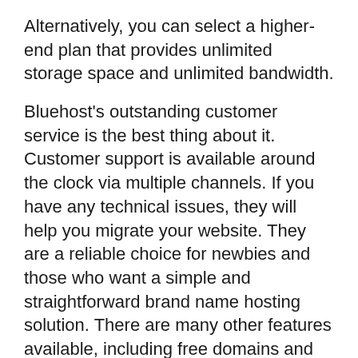Alternatively, you can select a higher-end plan that provides unlimited storage space and unlimited bandwidth.
Bluehost's outstanding customer service is the best thing about it. Customer support is available around the clock via multiple channels. If you have any technical issues, they will help you migrate your website. They are a reliable choice for newbies and those who want a simple and straightforward brand name hosting solution. There are many other features available, including free domains and SSL certificates that can be used for one year. Bluehost is a great choice if you're looking for a new host company.
You can choose from PostgreSQL, MySQL